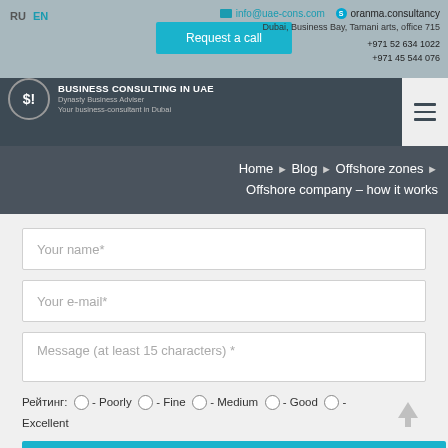RU EN | info@uae-cons.com | oranma.consultancy | Dubai, Business Bay, Tamani arts, office 715 | +971 52 634 1022 | +971 45 544 076
[Figure (logo): SI logo circle with Business Consulting in UAE text, Dynasty Business Adviser, Your business-consultant in Dubai]
Home ▶ Blog ▶ Offshore zones ▶ Offshore company – how it works
Your name*
Your e-mail*
Message (at least 15 characters) *
Рейтинг: ○ - Poorly ○ - Fine ○ - Medium ○ - Good ○ - Excellent